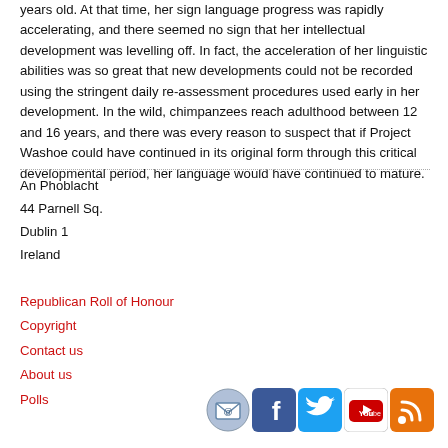years old. At that time, her sign language progress was rapidly accelerating, and there seemed no sign that her intellectual development was levelling off. In fact, the acceleration of her linguistic abilities was so great that new developments could not be recorded using the stringent daily re-assessment procedures used early in her development. In the wild, chimpanzees reach adulthood between 12 and 16 years, and there was every reason to suspect that if Project Washoe could have continued in its original form through this critical developmental period, her language would have continued to mature.
An Phoblacht
44 Parnell Sq.
Dublin 1
Ireland
Republican Roll of Honour
Copyright
Contact us
About us
Polls
[Figure (infographic): Row of five social media icons: email/envelope icon, Facebook icon, Twitter icon, YouTube icon, RSS feed icon]